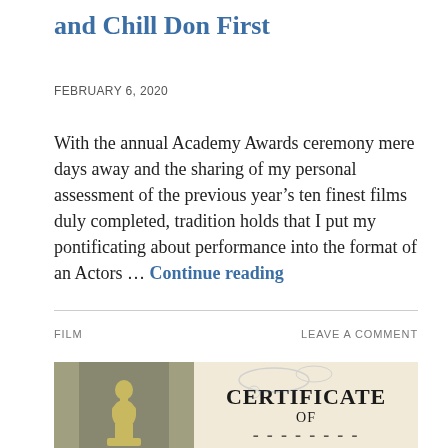and Chill Don First
FEBRUARY 6, 2020
With the annual Academy Awards ceremony mere days away and the sharing of my personal assessment of the previous year's ten finest films duly completed, tradition holds that I put my pontificating about performance into the format of an Actors … Continue reading
FILM
LEAVE A COMMENT
[Figure (photo): Photo showing an Oscar statuette on the left against a grey background, and on the right a cream/parchment colored certificate with the words CERTIFICATE OF (and partially visible text below) in bold serif type, with faint blue ink marks/stamp visible.]